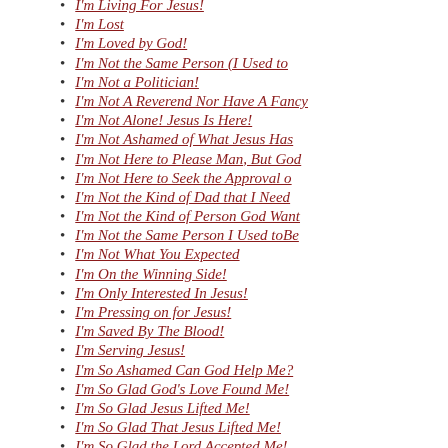I'm Living For Jesus!
I'm Lost
I'm Loved by God!
I'm Not the Same Person (I Used to
I'm Not a Politician!
I'm Not A Reverend Nor Have A Fancy
I'm Not Alone! Jesus Is Here!
I'm Not Ashamed of What Jesus Has
I'm Not Here to Please Man, But God
I'm Not Here to Seek the Approval o
I'm Not the Kind of Dad that I Need
I'm Not the Kind of Person God Want
I'm Not the Same Person I Used toBe
I'm Not What You Expected
I'm On the Winning Side!
I'm Only Interested In Jesus!
I'm Pressing on for Jesus!
I'm Saved By The Blood!
I'm Serving Jesus!
I'm So Ashamed Can God Help Me?
I'm So Glad God's Love Found Me!
I'm So Glad Jesus Lifted Me!
I'm So Glad That Jesus Lifted Me!
I'm So Glad the Lord Accepted Me!
I'm So Thankful for My Dad!
I'm So Thankful That Christ Saved M
I'm So Thankful...
I'm Surrendering to Jesus!
I'm Thankful For All Christ Has Don
I'm Thankful For Dr. Yeh!